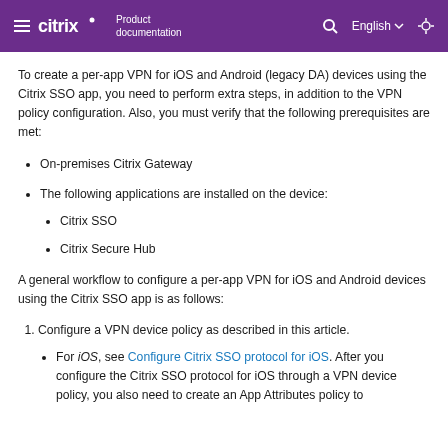Citrix Product documentation | English
To create a per-app VPN for iOS and Android (legacy DA) devices using the Citrix SSO app, you need to perform extra steps, in addition to the VPN policy configuration. Also, you must verify that the following prerequisites are met:
On-premises Citrix Gateway
The following applications are installed on the device:
Citrix SSO
Citrix Secure Hub
A general workflow to configure a per-app VPN for iOS and Android devices using the Citrix SSO app is as follows:
1. Configure a VPN device policy as described in this article.
For iOS, see Configure Citrix SSO protocol for iOS. After you configure the Citrix SSO protocol for iOS through a VPN device policy, you also need to create an App Attributes policy to